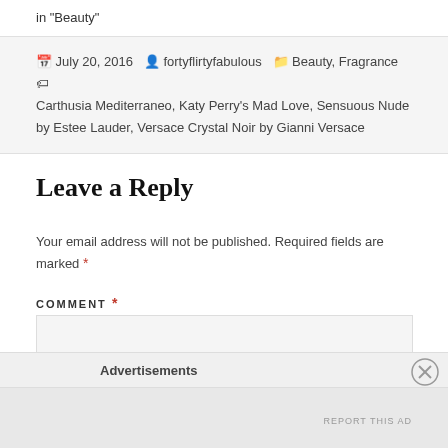in "Beauty"
July 20, 2016   fortyflirtyfabulous   Beauty, Fragrance   Carthusia Mediterraneo, Katy Perry's Mad Love, Sensuous Nude by Estee Lauder, Versace Crystal Noir by Gianni Versace
Leave a Reply
Your email address will not be published. Required fields are marked *
COMMENT *
Advertisements
REPORT THIS AD